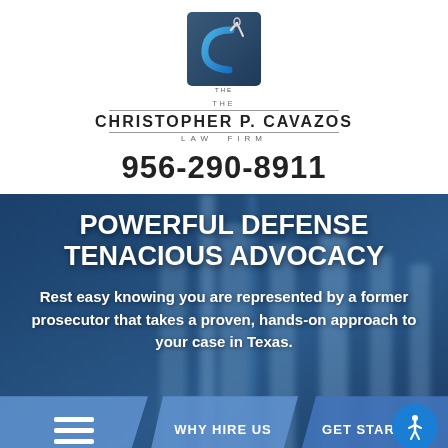[Figure (logo): The Christopher P. Cavazos Law Firm logo — stylized letter C with a needle/thread graphic on a teal/dark background square, with firm name below]
956-290-8911
POWERFUL DEFENSE TENACIOUS ADVOCACY
Rest easy knowing you are represented by a former prosecutor that takes a proven, hands-on approach to your case in Texas.
WHY HIRE US
GET STARTED